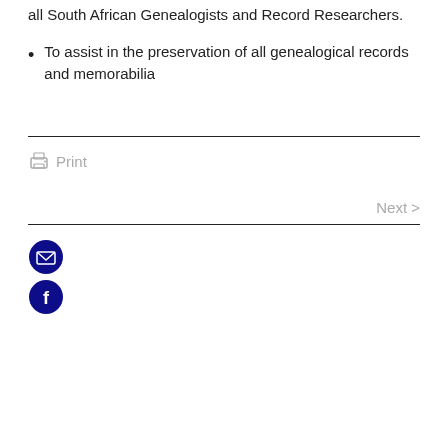all South African Genealogists and Record Researchers.
To assist in the preservation of all genealogical records and memorabilia
Print
Next >
[Figure (other): Email icon (dark blue circle with envelope) and Facebook icon (dark blue circle with 'f' logo)]